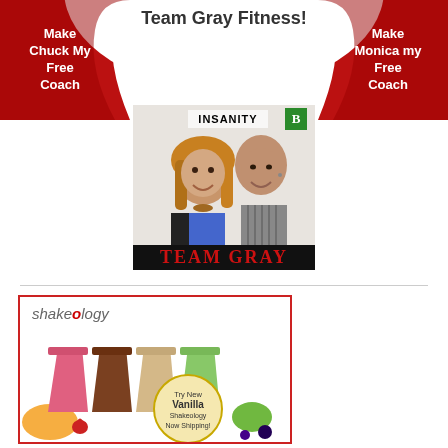Team Gray Fitness!
Make Chuck My Free Coach
Make Monica my Free Coach
[Figure (photo): Photo of Chuck and Monica Gray (Team Gray) at a Beachbody event with INSANITY backdrop, overlaid with 'TEAM GRAY' text in red]
[Figure (photo): Shakeology advertisement showing four shake flavors (strawberry, chocolate, vanilla, green) with fruits and a 'Try New Vanilla Shakeology Now Shipping' badge]